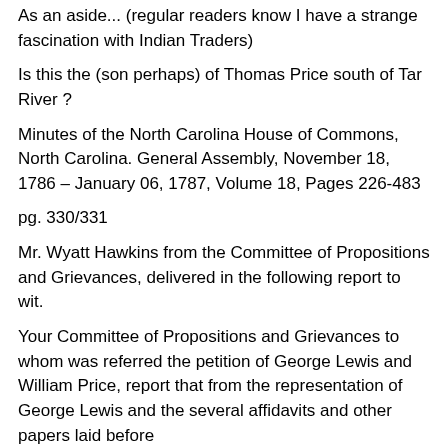As an aside... (regular readers know I have a strange fascination with Indian Traders)
Is this the (son perhaps) of Thomas Price south of Tar River ?
Minutes of the North Carolina House of Commons, North Carolina. General Assembly, November 18, 1786 – January 06, 1787, Volume 18, Pages 226-483
pg. 330/331
Mr. Wyatt Hawkins from the Committee of Propositions and Grievances, delivered in the following report to wit.
Your Committee of Propositions and Grievances to whom was referred the petition of George Lewis and William Price, report that from the representation of George Lewis and the several affidavits and other papers laid before